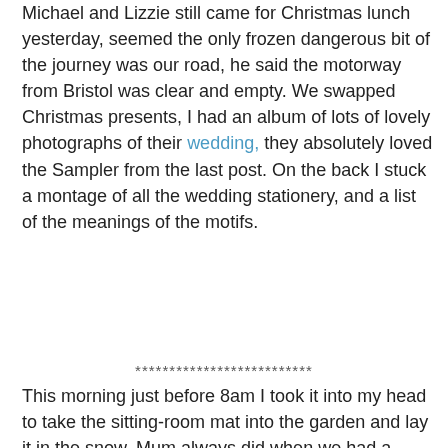Michael and Lizzie still came for Christmas lunch yesterday, seemed the only frozen dangerous bit of the journey was our road, he said the motorway from Bristol was clear and empty. We swapped Christmas presents, I had an album of lots of lovely photographs of their wedding, they absolutely loved the Sampler from the last post. On the back I stuck a montage of all the wedding stationery, and a list of the meanings of the motifs.
**************************
This morning just before 8am I took it into my head to take the sitting-room mat into the garden and lay it in the snow. Mum always did when we had a good fall of snow, apparently it is a very old fashioned way of cleaning mats. Snow is a natural bleach (did you ever taste it as a child or after a snowball fight?). Well I thought I would have a go, what could go wrong, the mat was 15 years old and grubby.
[Figure (photo): A snowy garden scene with a red-roofed structure and snow-covered plants and fencing]